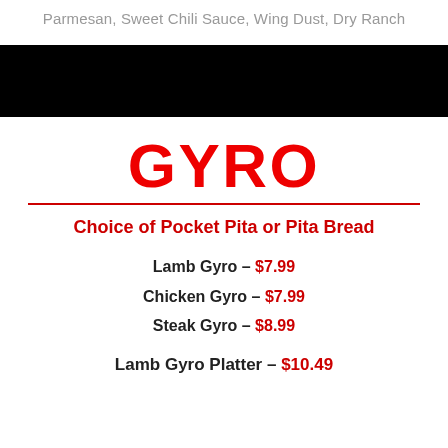Parmesan, Sweet Chili Sauce, Wing Dust, Dry Ranch
GYRO
Choice of Pocket Pita or Pita Bread
Lamb Gyro – $7.99
Chicken Gyro – $7.99
Steak Gyro – $8.99
Lamb Gyro Platter – $10.49